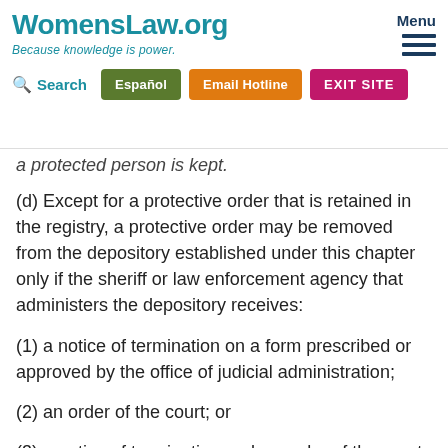WomensLaw.org — Because knowledge is power.
a protected person is kept.
(d) Except for a protective order that is retained in the registry, a protective order may be removed from the depository established under this chapter only if the sheriff or law enforcement agency that administers the depository receives:
(1) a notice of termination on a form prescribed or approved by the office of judicial administration;
(2) an order of the court; or
(3) a notice of termination and an order of the court.